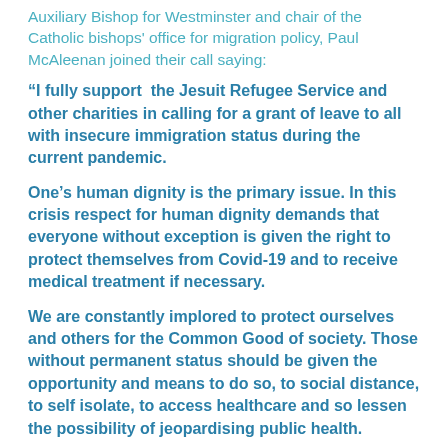Auxiliary Bishop for Westminster and chair of the Catholic bishops' office for migration policy, Paul McAleenan joined their call saying:
“I fully support  the Jesuit Refugee Service and other charities in calling for a grant of leave to all with insecure immigration status during the current pandemic.
One’s human dignity is the primary issue. In this crisis respect for human dignity demands that everyone without exception is given the right to protect themselves from Covid-19 and to receive medical treatment if necessary.
We are constantly implored to protect ourselves and others for the Common Good of society. Those without permanent status should be given the opportunity and means to do so, to social distance, to self isolate, to access healthcare and so lessen the possibility of jeopardising public health.